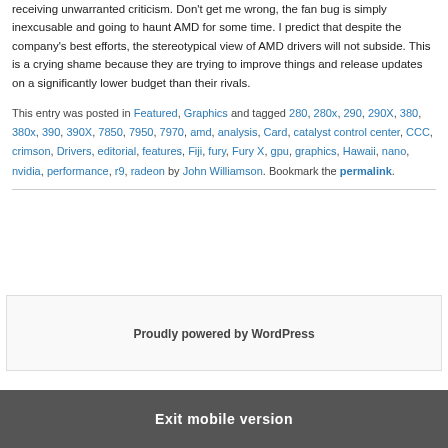receiving unwarranted criticism. Don't get me wrong, the fan bug is simply inexcusable and going to haunt AMD for some time. I predict that despite the company's best efforts, the stereotypical view of AMD drivers will not subside. This is a crying shame because they are trying to improve things and release updates on a significantly lower budget than their rivals.
This entry was posted in Featured, Graphics and tagged 280, 280x, 290, 290X, 380, 380x, 390, 390X, 7850, 7950, 7970, amd, analysis, Card, catalyst control center, CCC, crimson, Drivers, editorial, features, Fiji, fury, Fury X, gpu, graphics, Hawaii, nano, nvidia, performance, r9, radeon by John Williamson. Bookmark the permalink.
Proudly powered by WordPress
Exit mobile version